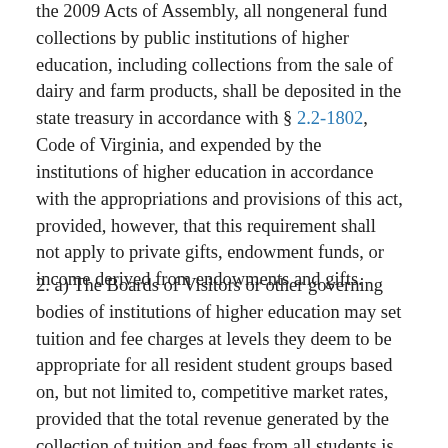the 2009 Acts of Assembly, all nongeneral fund collections by public institutions of higher education, including collections from the sale of dairy and farm products, shall be deposited in the state treasury in accordance with § 2.2-1802, Code of Virginia, and expended by the institutions of higher education in accordance with the appropriations and provisions of this act, provided, however, that this requirement shall not apply to private gifts, endowment funds, or income derived from endowments and gifts.
2. a) The Boards of Visitors or other governing bodies of institutions of higher education may set tuition and fee charges at levels they deem to be appropriate for all resident student groups based on, but not limited to, competitive market rates, provided that the total revenue generated by the collection of tuition and fees from all students is